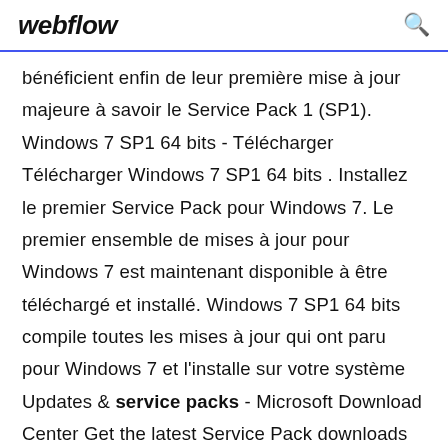webflow
bénéficient enfin de leur première mise à jour majeure à savoir le Service Pack 1 (SP1). Windows 7 SP1 64 bits - Télécharger Télécharger Windows 7 SP1 64 bits . Installez le premier Service Pack pour Windows 7. Le premier ensemble de mises à jour pour Windows 7 est maintenant disponible à être téléchargé et installé. Windows 7 SP1 64 bits compile toutes les mises à jour qui ont paru pour Windows 7 et l'installe sur votre système Updates & service packs - Microsoft Download Center Get the latest Service Pack downloads from the Official Microsoft Download Center. service pack 3 Windows 7 - Windows 7 Download